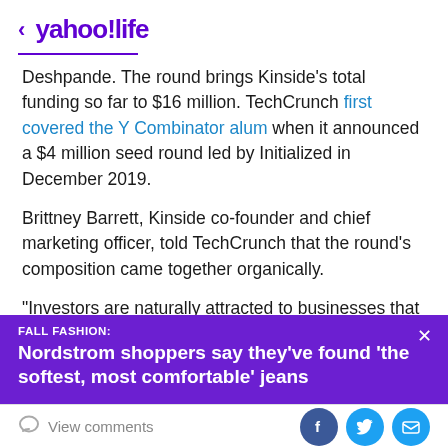< yahoo!life
Deshpande. The round brings Kinside's total funding so far to $16 million. TechCrunch first covered the Y Combinator alum when it announced a $4 million seed round led by Initialized in December 2019.
Brittney Barrett, Kinside co-founder and chief marketing officer, told TechCrunch that the round's composition came together organically.
“Investors are naturally attracted to businesses that are dedicated to solving pain points that they themselves
[Figure (other): Purple ad banner overlay: FALL FASHION: Nordstrom shoppers say they've found 'the softest, most comfortable' jeans]
View comments [Facebook] [Twitter] [Email]